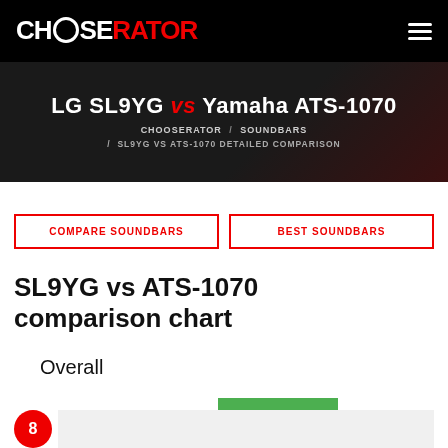CHOOSERATOR
LG SL9YG vs Yamaha ATS-1070
CHOOSERATOR / SOUNDBARS / SL9YG VS ATS-1070 DETAILED COMPARISON
COMPARE SOUNDBARS
BEST SOUNDBARS
SL9YG vs ATS-1070 comparison chart
Overall
LG SL9YG  SHOP NOW